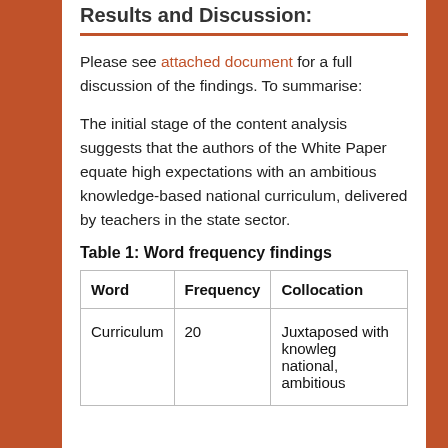Results and Discussion:
Please see attached document for a full discussion of the findings. To summarise:
The initial stage of the content analysis suggests that the authors of the White Paper equate high expectations with an ambitious knowledge-based national curriculum, delivered by teachers in the state sector.
Table 1: Word frequency findings
| Word | Frequency | Collocation |
| --- | --- | --- |
| Curriculum | 20 | Juxtaposed with knowledge, national, ambitious |